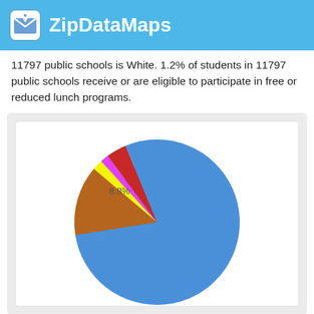ZipDataMaps
11797 public schools is White. 1.2% of students in 11797 public schools receive or are eligible to participate in free or reduced lunch programs.
[Figure (pie-chart): Student demographics pie chart]